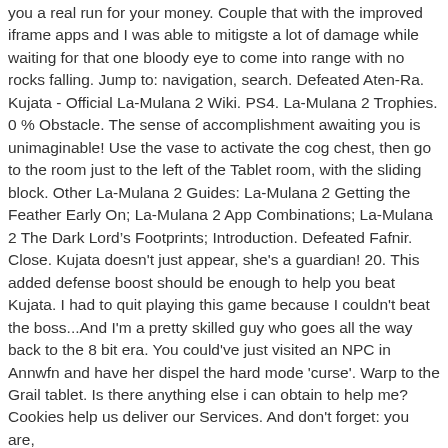you a real run for your money. Couple that with the improved iframe apps and I was able to mitigste a lot of damage while waiting for that one bloody eye to come into range with no rocks falling. Jump to: navigation, search. Defeated Aten-Ra. Kujata - Official La-Mulana 2 Wiki. PS4. La-Mulana 2 Trophies. 0 % Obstacle. The sense of accomplishment awaiting you is unimaginable! Use the vase to activate the cog chest, then go to the room just to the left of the Tablet room, with the sliding block. Other La-Mulana 2 Guides: La-Mulana 2 Getting the Feather Early On; La-Mulana 2 App Combinations; La-Mulana 2 The Dark Lord’s Footprints; Introduction. Defeated Fafnir. Close. Kujata doesn't just appear, she's a guardian! 20. This added defense boost should be enough to help you beat Kujata. I had to quit playing this game because I couldn't beat the boss...And I'm a pretty skilled guy who goes all the way back to the 8 bit era. You could've just visited an NPC in Annwfn and have her dispel the hard mode 'curse'. Warp to the Grail tablet. Is there anything else i can obtain to help me? Cookies help us deliver our Services. And don't forget: you are,